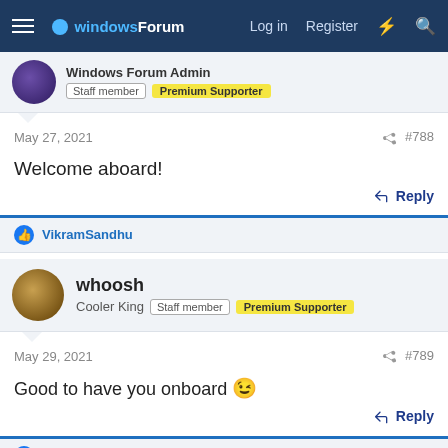windowsForum  Log in  Register
Windows Forum Admin  Staff member  Premium Supporter
May 27, 2021  #788
Welcome aboard!
Reply
VikramSandhu
whoosh  Cooler King  Staff member  Premium Supporter
May 29, 2021  #789
Good to have you onboard 😉
Reply
VikramSandhu